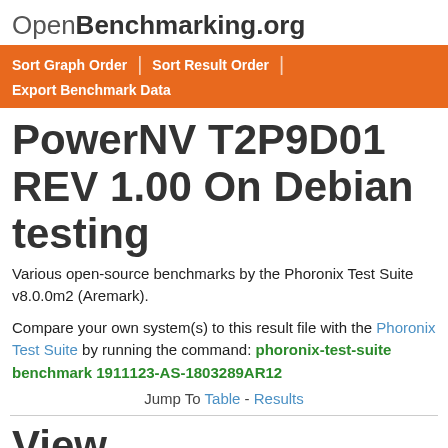OpenBenchmarking.org
Sort Graph Order | Sort Result Order | Export Benchmark Data
PowerNV T2P9D01 REV 1.00 On Debian testing
Various open-source benchmarks by the Phoronix Test Suite v8.0.0m2 (Aremark).
Compare your own system(s) to this result file with the Phoronix Test Suite by running the command: phoronix-test-suite benchmark 1911123-AS-1803289AR12
Jump To Table - Results
View